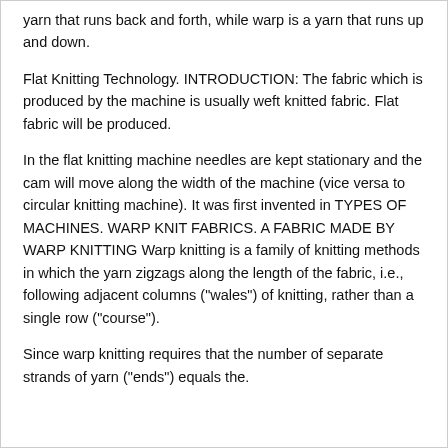yarn that runs back and forth, while warp is a yarn that runs up and down.
Flat Knitting Technology. INTRODUCTION: The fabric which is produced by the machine is usually weft knitted fabric. Flat fabric will be produced.
In the flat knitting machine needles are kept stationary and the cam will move along the width of the machine (vice versa to circular knitting machine). It was first invented in TYPES OF MACHINES. WARP KNIT FABRICS. A FABRIC MADE BY WARP KNITTING Warp knitting is a family of knitting methods in which the yarn zigzags along the length of the fabric, i.e., following adjacent columns ("wales") of knitting, rather than a single row ("course").
Since warp knitting requires that the number of separate strands of yarn ("ends") equals the.